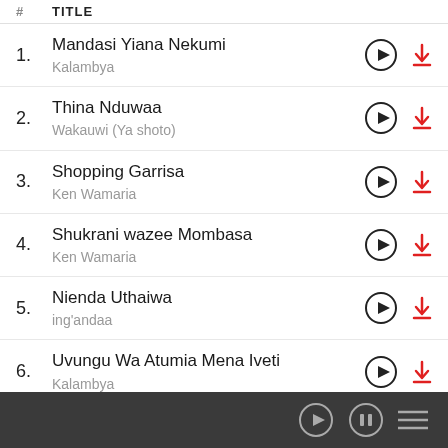# TITLE
1. Mandasi Yiana Nekumi — Kalambya
2. Thina Nduwaa — Wakauwi (Ya shoto)
3. Shopping Garrisa — Ken Wamaria
4. Shukrani wazee Mombasa — Ken Wamaria
5. Nienda Uthaiwa — ing'andaa
6. Uvungu Wa Atumia Mena Iveti — Kalambya
7. pale kale — Emali Town Choir
Player controls bar